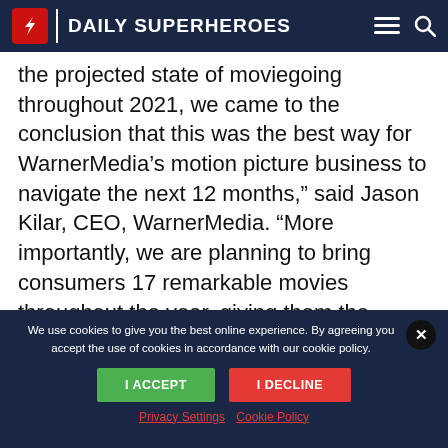Daily Superheroes
the projected state of moviegoing throughout 2021, we came to the conclusion that this was the best way for WarnerMedia’s motion picture business to navigate the next 12 months,” said Jason Kilar, CEO, WarnerMedia. “More importantly, we are planning to bring consumers 17 remarkable movies throughout the year, giving them the
We use cookies to give you the best online experience. By agreeing you accept the use of cookies in accordance with our cookie policy.
I ACCEPT
I DECLINE
Privacy Settings  Cookie Policy